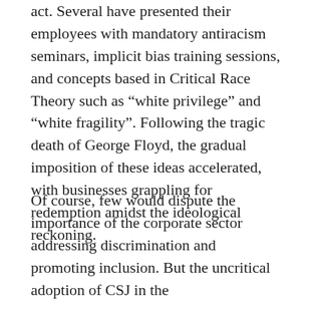act. Several have presented their employees with mandatory antiracism seminars, implicit bias training sessions, and concepts based in Critical Race Theory such as “white privilege” and “white fragility”. Following the tragic death of George Floyd, the gradual imposition of these ideas accelerated, with businesses grappling for redemption amidst the ideological reckoning.
Of course, few would dispute the importance of the corporate sector addressing discrimination and promoting inclusion. But the uncritical adoption of CSJ in the